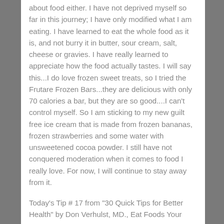about food either.  I have not deprived myself so far in this journey; I have only modified what I am eating.  I have learned to eat the whole food as it is, and not burry it in butter, sour cream, salt, cheese or gravies.  I have really learned to appreciate how the food actually tastes.  I will say this...I do love frozen sweet treats, so I tried the Frutare Frozen Bars...they are delicious with only 70 calories a bar, but they are so good....I can't control myself.  So I am sticking to my new guilt free ice cream that is made from frozen bananas, frozen strawberries and some water with unsweetened cocoa powder.  I still have not conquered moderation when it comes to food I really love.  For now, I will continue to stay away from it.
Today's Tip # 17 from "30 Quick Tips for Better Health" by Don Verhulst, MD., Eat Foods Your Heart Loves.  At